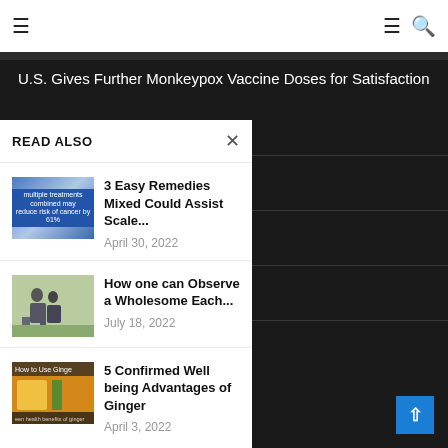≡   ≡ 🔍
U.S. Gives Further Monkeypox Vaccine Doses for Satisfaction
ing lotions of 2022? –
ew Fast COVID-19 Immunity
nd skin (2022) – Credihealth
Black Weight Loss Success
READ ALSO
[Figure (screenshot): Thumbnail image showing medical/treatment infographic with text 'multiple treatments combined may reduce risk of cancer by 61%']
3 Easy Remedies Mixed Could Assist Scale...
April 30, 2022
[Figure (photo): Thumbnail image showing people walking/exercising outdoors]
How one can Observe a Wholesome Each...
July 18, 2022
[Figure (photo): Thumbnail image with text 'How to Use Ginger' and 'green health benefits of ginger']
5 Confirmed Well being Advantages of Ginger
April 3, 2022